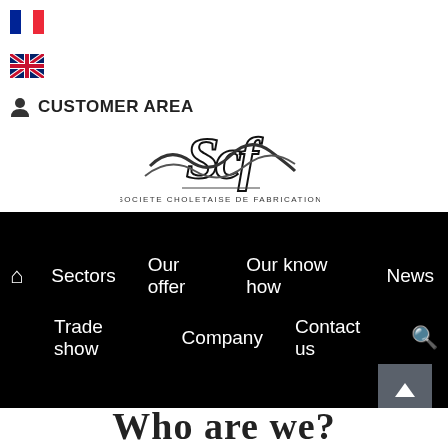[Figure (logo): French flag icon]
[Figure (logo): UK flag icon]
CUSTOMER AREA
[Figure (logo): SCF - Societe Choletaise de Fabrication logo in black and white cursive style]
Sectors | Our offer | Our know how | News | Trade show | Company | Contact us
Who are we?